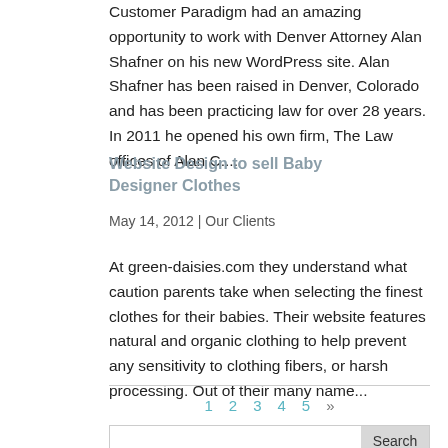Customer Paradigm had an amazing opportunity to work with Denver Attorney Alan Shafner on his new WordPress site. Alan Shafner has been raised in Denver, Colorado and has been practicing law for over 28 years. In 2011 he opened his own firm, The Law offices of Alan C....
Website Design to sell Baby Designer Clothes
May 14, 2012 | Our Clients
At green-daisies.com they understand what caution parents take when selecting the finest clothes for their babies. Their website features natural and organic clothing to help prevent any sensitivity to clothing fibers, or harsh processing. Out of their many name...
1  2  3  4  5  »
Search